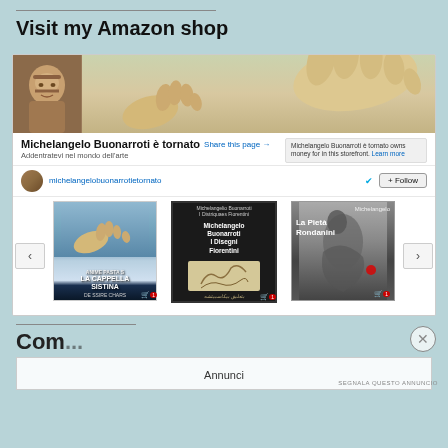Visit my Amazon shop
[Figure (screenshot): Amazon storefront for Michelangelo Buonarroti è tornato, showing a banner with Renaissance painting (Creation of Adam hands), profile avatar, shop name, follow button, and three book covers: La Cappella Sistina, Michelangelo Buonarroti I Disegni Fiorentini, La Pietà Rondanini]
Annunci
SEGNALA QUESTO ANNUNCIO